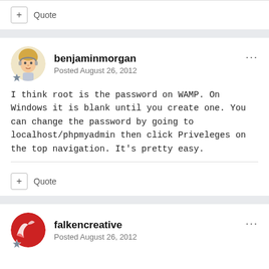+ Quote
benjaminmorgan
Posted August 26, 2012
I think root is the password on WAMP. On Windows it is blank until you create one. You can change the password by going to localhost/phpmyadmin then click Priveleges on the top navigation. It's pretty easy.
+ Quote
falkencreative
Posted August 26, 2012